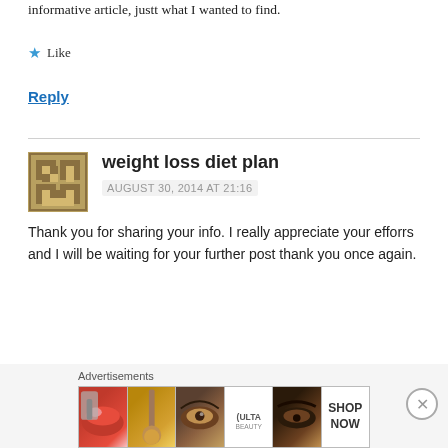informative article, justt what I wanted to find.
★ Like
Reply
weight loss diet plan
AUGUST 30, 2014 AT 21:16
Thank you for sharing your info. I really appreciate your efforrs and I will be waiting for your further post thank you once again.
★ Like
[Figure (other): Advertisement banner showing beauty/makeup products with ULTA logo and SHOP NOW text]